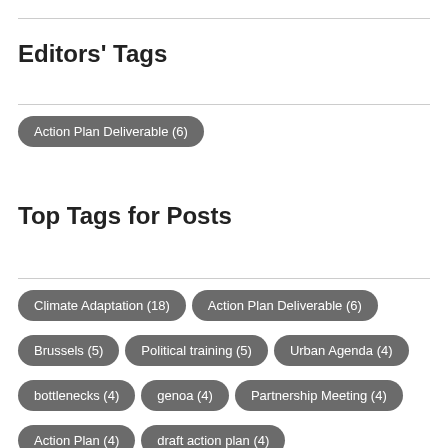Editors' Tags
Action Plan Deliverable (6)
Top Tags for Posts
Climate Adaptation (18)
Action Plan Deliverable (6)
Brussels (5)
Political training (5)
Urban Agenda (4)
bottlenecks (4)
genoa (4)
Partnership Meeting (4)
Action Plan (4)
draft action plan (4)